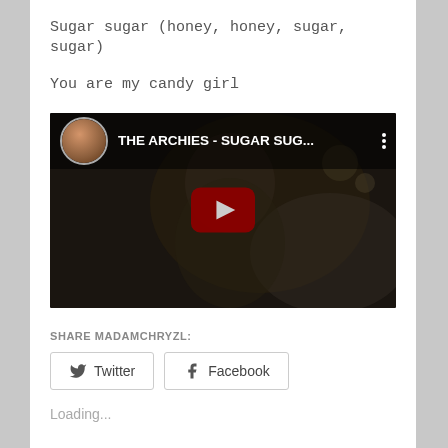Sugar sugar (honey, honey, sugar, sugar)
You are my candy girl
[Figure (screenshot): YouTube video embed showing THE ARCHIES - SUGAR SUG... with a play button and video thumbnail of a person in dark lighting. Top bar shows channel avatar and video title.]
SHARE MADAMCHRYZL:
Twitter
Facebook
Loading...